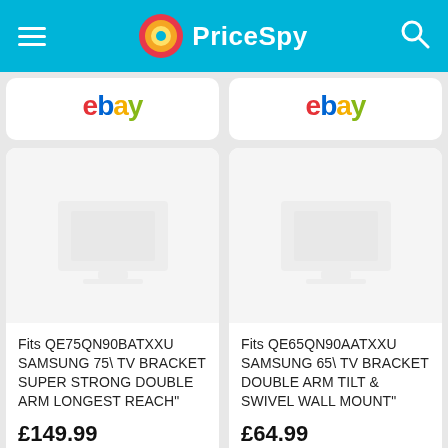PriceSpy
[Figure (logo): eBay logo partially visible in top-left product card]
[Figure (logo): eBay logo partially visible in top-right product card]
[Figure (photo): Placeholder product image for TV wall bracket — left card]
Fits QE75QN90BATXXU SAMSUNG 75\ TV BRACKET SUPER STRONG DOUBLE ARM LONGEST REACH"
£149.99
[Figure (photo): Placeholder product image for TV wall bracket — right card]
Fits QE65QN90AATXXU SAMSUNG 65\ TV BRACKET DOUBLE ARM TILT & SWIVEL WALL MOUNT"
£64.99